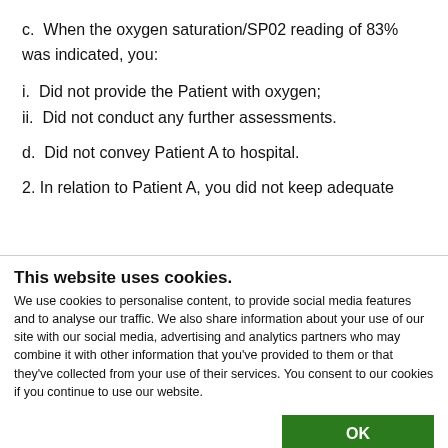c.  When the oxygen saturation/SP02 reading of 83% was indicated, you:
i.  Did not provide the Patient with oxygen;
ii.  Did not conduct any further assessments.
d.  Did not convey Patient A to hospital.
2. In relation to Patient A, you did not keep adequate
This website uses cookies.
We use cookies to personalise content, to provide social media features and to analyse our traffic. We also share information about your use of our site with our social media, advertising and analytics partners who may combine it with other information that you've provided to them or that they've collected from your use of their services. You consent to our cookies if you continue to use our website.
OK
Necessary  Preferences  Statistics  Marketing  Show details